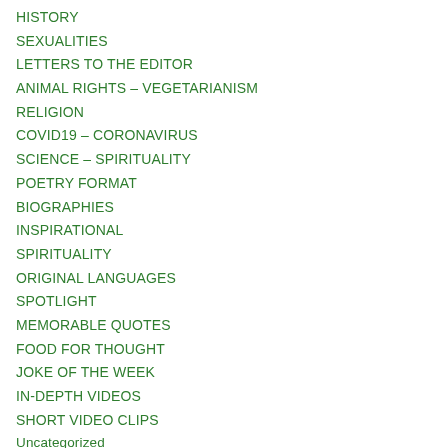HISTORY
SEXUALITIES
LETTERS TO THE EDITOR
ANIMAL RIGHTS – VEGETARIANISM
RELIGION
COVID19 – CORONAVIRUS
SCIENCE – SPIRITUALITY
POETRY FORMAT
BIOGRAPHIES
INSPIRATIONAL
SPIRITUALITY
ORIGINAL LANGUAGES
SPOTLIGHT
MEMORABLE QUOTES
FOOD FOR THOUGHT
JOKE OF THE WEEK
IN-DEPTH VIDEOS
SHORT VIDEO CLIPS
Uncategorized
COMMENTARY ARCHIVES
IPRA 2014 – 50th ANNIV. CONFERENCE
Musical Joke of the Week